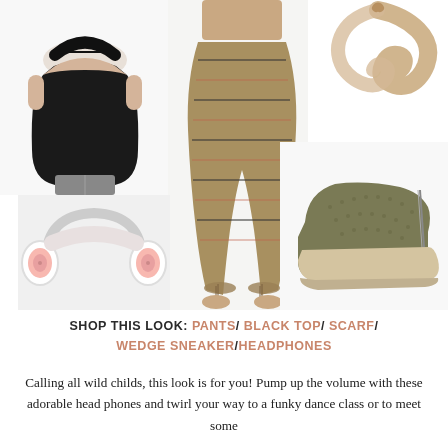[Figure (photo): Product collage showing black racerback top (back view), patterned harem pants worn by a model, a tan/beige scarf, white and pink headphones, and olive green wedge sneakers]
SHOP THIS LOOK: PANTS/ BLACK TOP/ SCARF/ WEDGE SNEAKER/HEADPHONES
Calling all wild childs, this look is for you! Pump up the volume with these adorable head phones and twirl your way to a funky dance class or to meet some